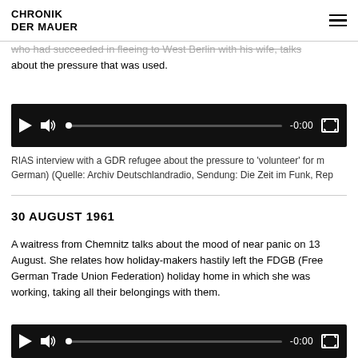CHRONIK DER MAUER
who had succeeded in fleeing to West Berlin with his wife, talks about the pressure that was used.
[Figure (other): Audio player with play button, volume icon, progress bar showing -0:00, and fullscreen button on black background]
RIAS interview with a GDR refugee about the pressure to 'volunteer' for m... German) (Quelle: Archiv Deutschlandradio, Sendung: Die Zeit im Funk, Rep...
30 AUGUST 1961
A waitress from Chemnitz talks about the mood of near panic on 13 August. She relates how holiday-makers hastily left the FDGB (Free German Trade Union Federation) holiday home in which she was working, taking all their belongings with them.
[Figure (other): Audio player with play button, volume icon, progress bar showing -0:00, and fullscreen button on black background]